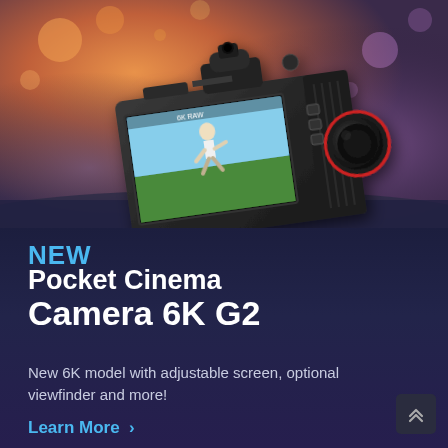[Figure (photo): Blackmagic Pocket Cinema Camera 6K G2 shown from the back/side angle, displaying a person jumping on its articulating touchscreen LCD, with an optional viewfinder mounted on top. Bokeh background with warm orange and purple lights.]
NEW Pocket Cinema Camera 6K G2
New 6K model with adjustable screen, optional viewfinder and more!
Learn More >